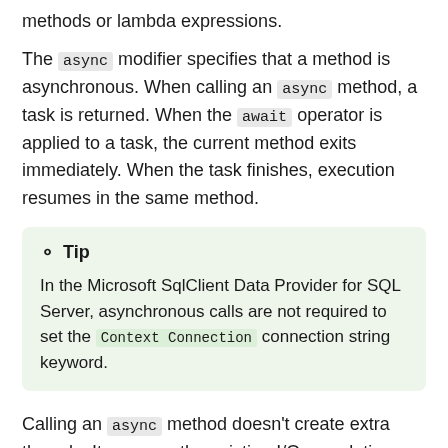methods or lambda expressions.
The async modifier specifies that a method is asynchronous. When calling an async method, a task is returned. When the await operator is applied to a task, the current method exits immediately. When the task finishes, execution resumes in the same method.
Tip
In the Microsoft SqlClient Data Provider for SQL Server, asynchronous calls are not required to set the Context Connection connection string keyword.
Calling an async method doesn't create extra threads. It may use the existing I/O completion thread briefly at the end.